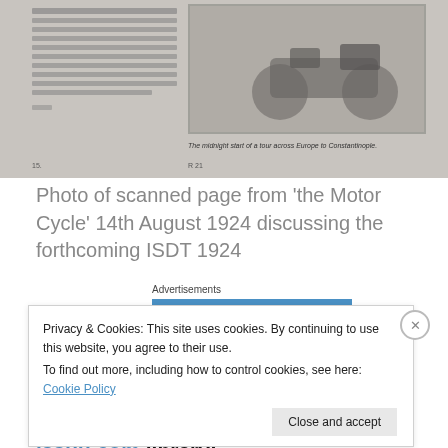[Figure (photo): Scanned page from 'the Motor Cycle' magazine, 14th August 1924, showing an old motorcycle and text columns with caption 'The midnight start of a tour across Europe to Constantinople']
Photo of scanned page from 'the Motor Cycle' 14th August 1924 discussing the forthcoming ISDT 1924
[Figure (advertisement): Automattic advertisement with blue background. Text: AUTOMATTIC / Love working again.]
You can read the text of 'the Motor Cycle' article of 21st
Aug on the ISDT 1924 at our issuu.com library:
Privacy & Cookies: This site uses cookies. By continuing to use this website, you agree to their use.
To find out more, including how to control cookies, see here: Cookie Policy
Close and accept